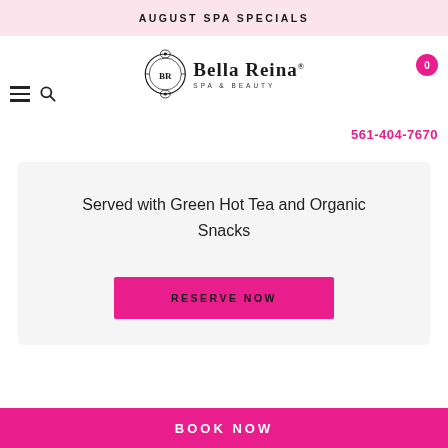AUGUST SPA SPECIALS
[Figure (logo): Bella Reina Spa & Beauty logo with ornate emblem]
561-404-7670
Served with Green Hot Tea and Organic Snacks
RESERVE NOW
BOOK NOW